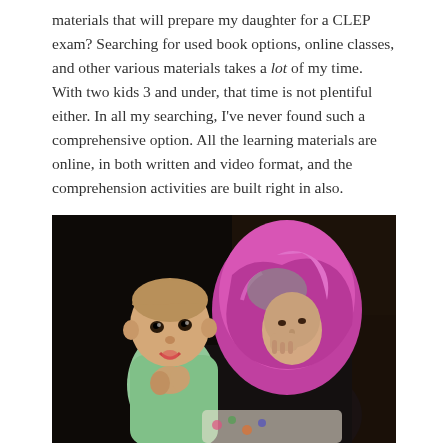materials that will prepare my daughter for a CLEP exam? Searching for used book options, online classes, and other various materials takes a lot of my time. With two kids 3 and under, that time is not plentiful either. In all my searching, I've never found such a comprehensive option. All the learning materials are online, in both written and video format, and the comprehension activities are built right in also.
[Figure (photo): A woman wearing a purple hijab holds a young toddler. The woman appears tired, resting her hand on her face. The toddler is wearing a light green top and looking at the camera.]